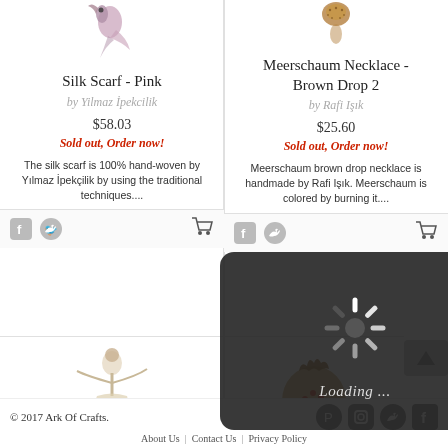[Figure (photo): Silk scarf product image - pink/purple bird figure on white]
Silk Scarf - Pink
by Yilmaz İpekcilik
$58.03
Sold out, Order now!
The silk scarf is 100% hand-woven by Yılmaz İpekçilik by using the traditional techniques....
[Figure (photo): Meerschaum necklace product image - brown drop pendant]
Meerschaum Necklace - Brown Drop 2
by Rafi Işık
$25.60
Sold out, Order now!
Meerschaum brown drop necklace is handmade by Rafi Işık. Meerschaum is colored by burning it....
[Figure (photo): Loading spinner overlay on dark semi-transparent background]
[Figure (photo): Glass/crystal whirling dervish figurine product image]
[Figure (photo): Decorative pomegranate product image]
© 2017 Ark Of Crafts.
About Us | Contact Us | Privacy Policy